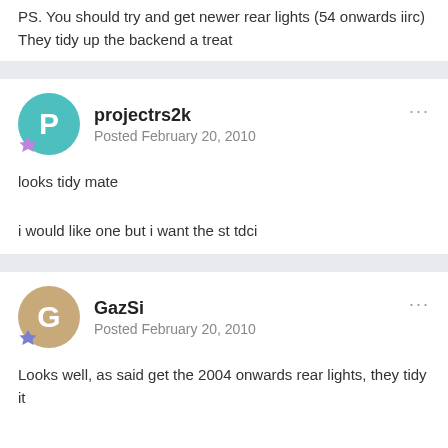Regardless, i'll bet you enjoy it!

PS. You should try and get newer rear lights (54 onwards iirc) They tidy up the backend a treat
projectrs2k
Posted February 20, 2010
looks tidy mate
i would like one but i want the st tdci
GazSi
Posted February 20, 2010
Looks well, as said get the 2004 onwards rear lights, they tidy it